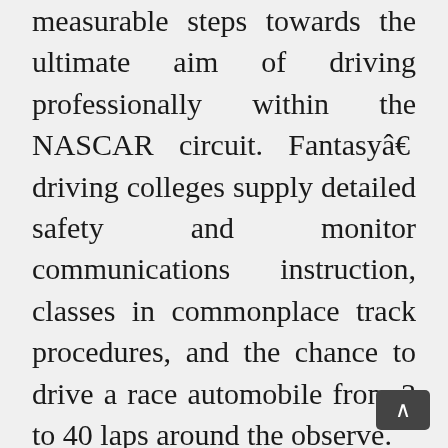measurable steps towards the ultimate aim of driving professionally within the NASCAR circuit. Fantasyâ€š driving colleges supply detailed safety and monitor communications instruction, classes in commonplace track procedures, and the chance to drive a race automobile from 3 to 40 laps around the observe.
There’s nothing to stop a female from becoming a NASCAR driver. The Mazda Highway to Indy features a driving faculty, championships, and different opportunities for a career in racing. To drive the Porsche 911 is to drive among the best sports automobiles of all time.